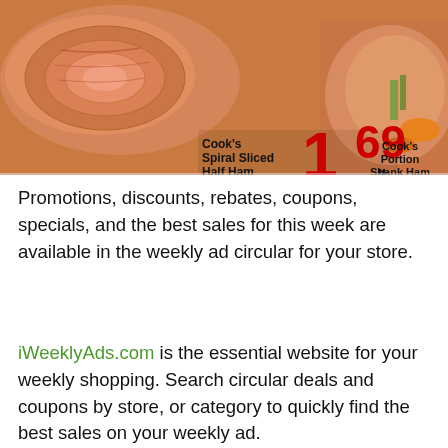[Figure (photo): Grocery store advertisement image showing sliced ham products. Text overlay reads: Cook's Spiral Sliced Half Ham Honey & Brown Sugar Glaze, price 1.69 lb., Cook's Portion Shank Ham]
Promotions, discounts, rebates, coupons, specials, and the best sales for this week are available in the weekly ad circular for your store.
iWeeklyAds.com is the essential website for your weekly shopping. Search circular deals and coupons by store, or category to quickly find the best sales on your weekly ad. Store Ad: Jewel-Osco Weekly Ad & Specials